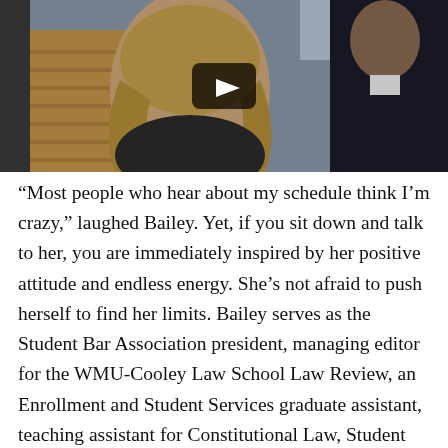[Figure (photo): Video thumbnail showing a young woman with long wavy blonde hair wearing a dark top, smiling, in front of a brick wall background. A man in a suit is visible on the right. A play button overlay is centered on the image.]
“Most people who hear about my schedule think I’m crazy,” laughed Bailey. Yet, if you sit down and talk to her, you are immediately inspired by her positive attitude and endless energy. She’s not afraid to push herself to find her limits. Bailey serves as the Student Bar Association president, managing editor for the WMU-Cooley Law School Law Review, an Enrollment and Student Services graduate assistant, teaching assistant for Constitutional Law, Student Ambassador, Kaplan Head Liaison, and a Grade Appeals Board member and magistrate. On her